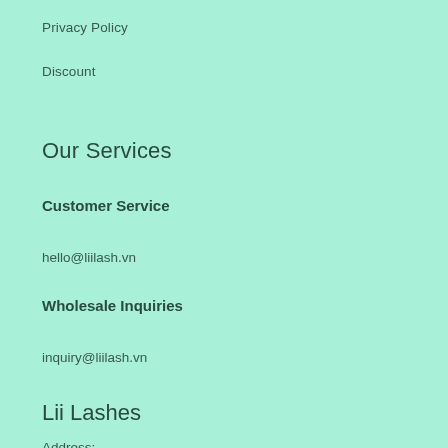Privacy Policy
Discount
Our Services
Customer Service
hello@liilash.vn
Wholesale Inquiries
inquiry@liilash.vn
Lii Lashes
Address: